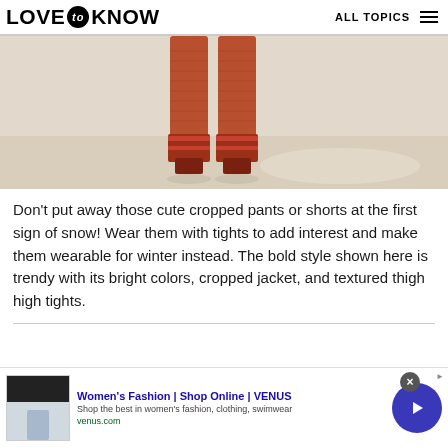LOVE to KNOW   ALL TOPICS
[Figure (photo): Close-up photo of person's legs wearing rust/orange textured thigh-high knit socks or tights with open-toe heeled sandals, standing on a light-colored floor.]
Don't put away those cute cropped pants or shorts at the first sign of snow! Wear them with tights to add interest and make them wearable for winter instead. The bold style shown here is trendy with its bright colors, cropped jacket, and textured thigh high tights.
[Figure (screenshot): Advertisement banner for Women's Fashion | Shop Online | VENUS. Shows 'Shop the best in women's fashion, clothing, swimwear' and 'venus.com'. Contains a close button (X) and a forward arrow button.]